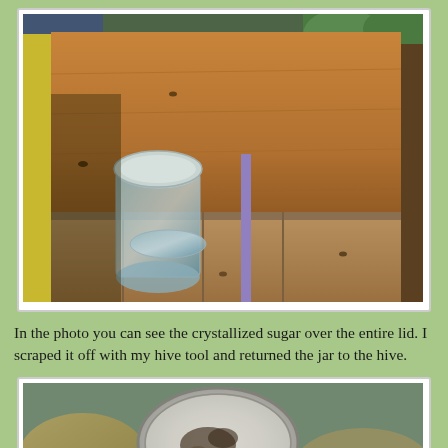[Figure (photo): Top-down view inside an open wooden beehive box showing glass jar feeders with crystallized sugar lids and honeybee frames]
In the photo you can see the crystallized sugar over the entire lid. I scraped it off with my hive tool and returned the jar to the hive.
[Figure (photo): Close-up of a jar lid showing crystallized sugar residue, held by a beekeeper wearing gloves]